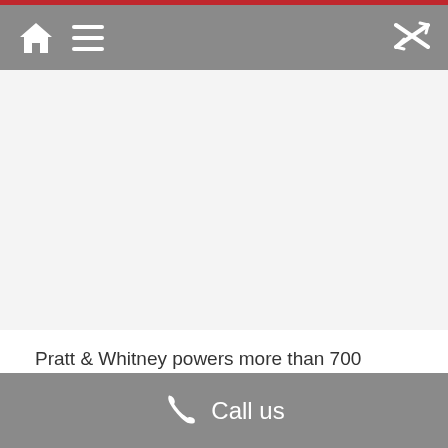Navigation bar with home icon, menu icon, and settings icon
[Figure (screenshot): Large empty/white content area representing a webpage screenshot placeholder]
Pratt & Whitney powers more than 700 aircraft in service today in India, including more than 150 GTF-
Call us